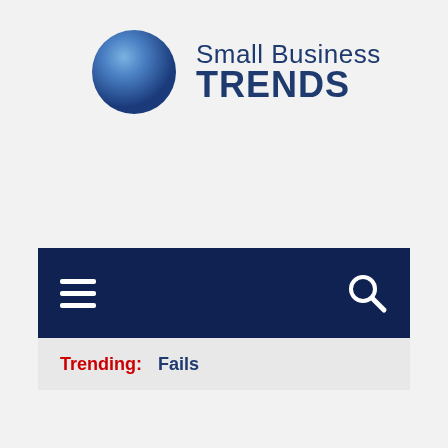[Figure (logo): Small Business Trends logo with blue gradient circle and text 'Small Business TRENDS' in navy blue]
[Figure (infographic): Navy blue navigation bar with hamburger menu icon on left and search icon on right]
Trending:  Fails